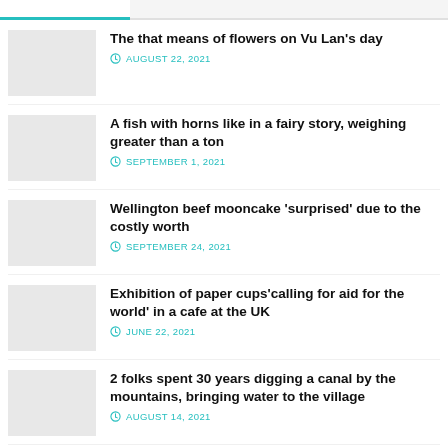The that means of flowers on Vu Lan's day
AUGUST 22, 2021
A fish with horns like in a fairy story, weighing greater than a ton
SEPTEMBER 1, 2021
Wellington beef mooncake 'surprised' due to the costly worth
SEPTEMBER 24, 2021
Exhibition of paper cups'calling for aid for the world' in a cafe at the UK
JUNE 22, 2021
2 folks spent 30 years digging a canal by the mountains, bringing water to the village
AUGUST 14, 2021